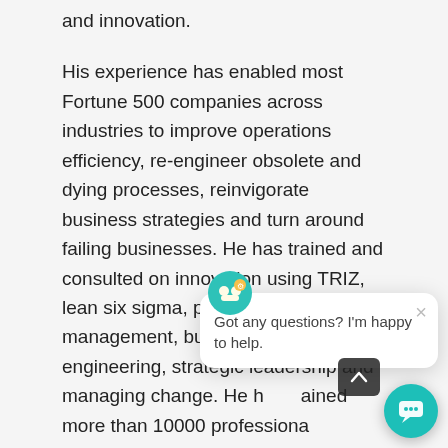and innovation.

His experience has enabled most Fortune 500 companies across industries to improve operations efficiency, re-engineer obsolete and dying processes, reinvigorate business strategies and turn around failing businesses. He has trained and consulted on innovation using TRIZ, lean six sigma, program & project management, business process re-engineering, strategic leadership and managing change. He has trained more than 10000 professionals on structured decision making, systems engineering across industries and lives in other leadership workshops. He uses his diverse life experiences to deliver workshops of seemingly complex concepts in easy to understand stories. His storytelling ability and humor keeps participants glued